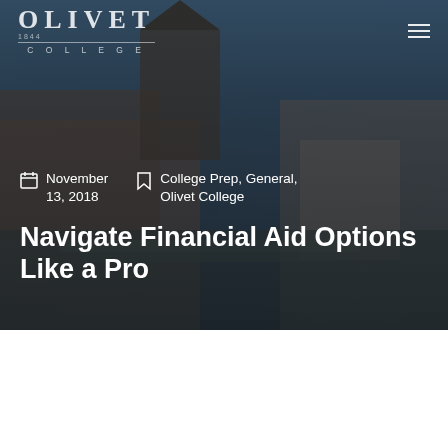[Figure (photo): Olivet College campus building hero image with dark overlay — a historic stone building with tower and arched entrance under a blue sky]
OLIVET COLLEGE — navigation logo and hamburger menu
November 13, 2018
College Prep, General, Olivet College
Navigate Financial Aid Options Like a Pro